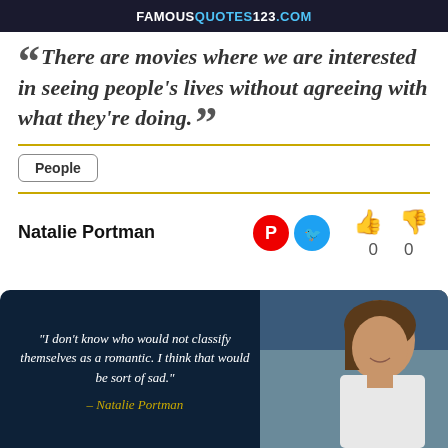FAMOUSQUOTES123.COM
“There are movies where we are interested in seeing people's lives without agreeing with what they're doing.”
People
Natalie Portman
[Figure (screenshot): Dark navy card with italic white quote text and a photo of Natalie Portman on the right. Quote: “I don’t know who would not classify themselves as a romantic. I think that would be sort of sad.” – Natalie Portman]
“I don’t know who would not classify themselves as a romantic. I think that would be sort of sad.” – Natalie Portman